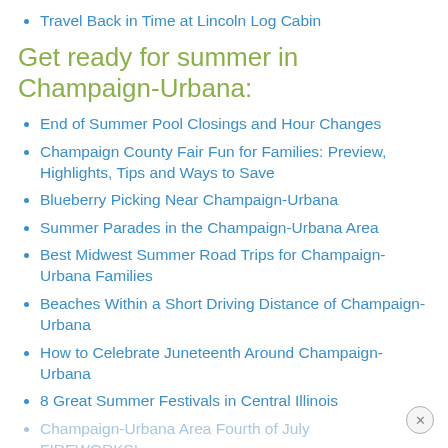Travel Back in Time at Lincoln Log Cabin
Get ready for summer in Champaign-Urbana:
End of Summer Pool Closings and Hour Changes
Champaign County Fair Fun for Families: Preview, Highlights, Tips and Ways to Save
Blueberry Picking Near Champaign-Urbana
Summer Parades in the Champaign-Urbana Area
Best Midwest Summer Road Trips for Champaign-Urbana Families
Beaches Within a Short Driving Distance of Champaign-Urbana
How to Celebrate Juneteenth Around Champaign-Urbana
8 Great Summer Festivals in Central Illinois
Champaign-Urbana Area Fourth of July FIREWORKS!